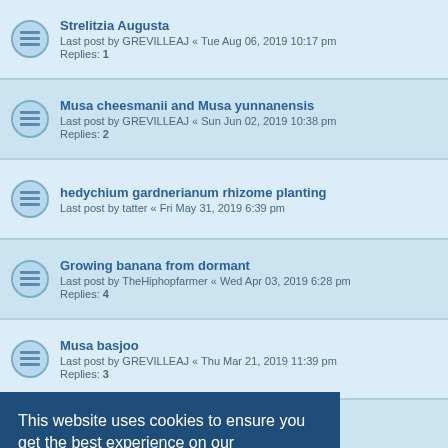Strelitzia Augusta
Last post by GREVILLEAJ « Tue Aug 06, 2019 10:17 pm
Replies: 1
Musa cheesmanii and Musa yunnanensis
Last post by GREVILLEAJ « Sun Jun 02, 2019 10:38 pm
Replies: 2
hedychium gardnerianum rhizome planting
Last post by tatter « Fri May 31, 2019 6:39 pm
Growing banana from dormant
Last post by TheHiphopfarmer « Wed Apr 03, 2019 6:28 pm
Replies: 4
Musa basjoo
Last post by GREVILLEAJ « Thu Mar 21, 2019 11:39 pm
Replies: 3
musa basjoo time to unwrap
Last post by tatter « Tue Mar 19, 2019 7:09 pm
Replies: 3
is it time ?
Last post by Adam Tafamaret « Mon Oct 29, 2018 6:01 am
Last post by tatter « Sat Sep 08, 2018 1:45 pm
Replies: 3
Hardiest cannas
Last post by Tom2006 « Mon Aug 20, 2018 10:21 pm
Replies: 2
heliconia
This website uses cookies to ensure you get the best experience on our website. Learn more
Got it!